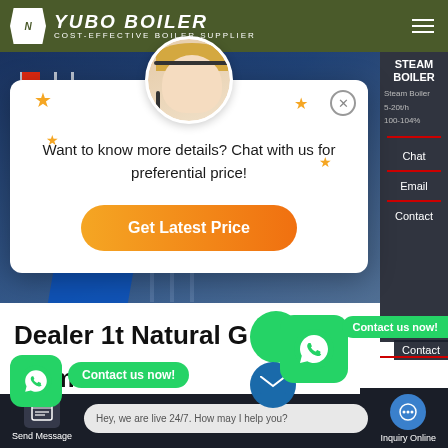YUBO BOILER - COST-EFFECTIVE BOILER SUPPLIER
[Figure (screenshot): Company building with flags in background, dark blue tones]
[Figure (screenshot): Chat popup modal with customer service avatar, stars decoration, text 'Want to know more details? Chat with us for preferential price!' and orange 'Get Latest Price' button]
Want to know more details? Chat with us for preferential price!
Get Latest Price
Dealer 1t Natural Gas Steam Bo...
Contact us now!
Contact us now!
Hey, we are live 24/7. How may I help you?
Send Message
Inquiry Online